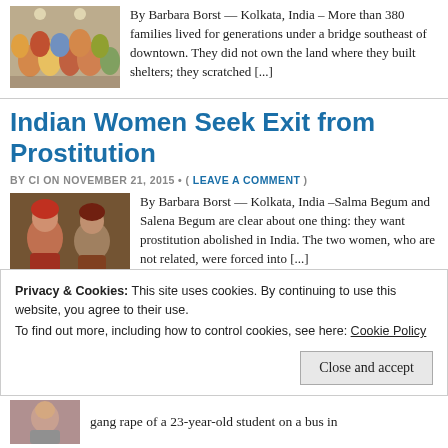[Figure (photo): Group of people seated in a hall, colorful clothing]
By Barbara Borst — Kolkata, India – More than 380 families lived for generations under a bridge southeast of downtown. They did not own the land where they built shelters; they scratched [...]
Indian Women Seek Exit from Prostitution
BY CI ON NOVEMBER 21, 2015 • ( LEAVE A COMMENT )
[Figure (photo): Two women in colorful traditional clothing sitting together]
By Barbara Borst — Kolkata, India –Salma Begum and Salena Begum are clear about one thing: they want prostitution abolished in India. The two women, who are not related, were forced into [...]
Privacy & Cookies: This site uses cookies. By continuing to use this website, you agree to their use.
To find out more, including how to control cookies, see here: Cookie Policy
[Figure (photo): Woman portrait at bottom left]
gang rape of a 23-year-old student on a bus in